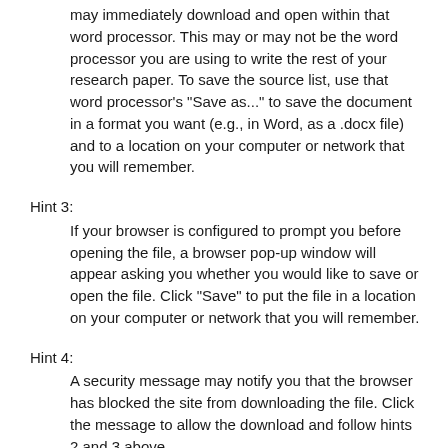may immediately download and open within that word processor. This may or may not be the word processor you are using to write the rest of your research paper. To save the source list, use that word processor's "Save as..." to save the document in a format you want (e.g., in Word, as a .docx file) and to a location on your computer or network that you will remember.
Hint 3:
If your browser is configured to prompt you before opening the file, a browser pop-up window will appear asking you whether you would like to save or open the file. Click "Save" to put the file in a location on your computer or network that you will remember.
Hint 4:
A security message may notify you that the browser has blocked the site from downloading the file. Click the message to allow the download and follow hints 2 and 3 above.
Hint 5:
Do not re-save an .rtf file as an .rtf file after opening it in Word. Doing so will cause formatting issues due to the